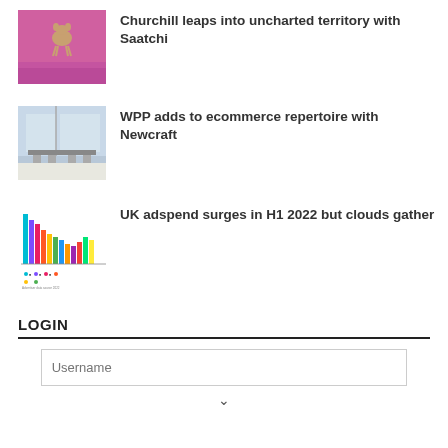[Figure (photo): Pink background image with a dog/bulldog figure jumping]
Churchill leaps into uncharted territory with Saatchi
[Figure (photo): Office interior with glass partitions and chairs]
WPP adds to ecommerce repertoire with Newcraft
[Figure (bar-chart): Colorful bar chart showing UK adspend data for H1 2022]
UK adspend surges in H1 2022 but clouds gather
LOGIN
Username